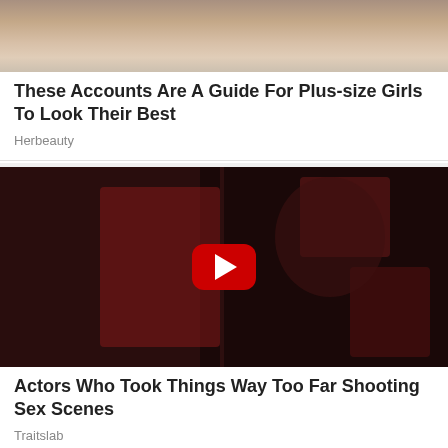[Figure (photo): Partial view of a plus-size woman in a mesh/fishnet outfit, cropped at waist level]
These Accounts Are A Guide For Plus-size Girls To Look Their Best
Herbeauty
[Figure (photo): Movie still showing two people in an intimate scene with a YouTube play button overlay — appears to be from a film with red and dark tones]
Actors Who Took Things Way Too Far Shooting Sex Scenes
Traitslab